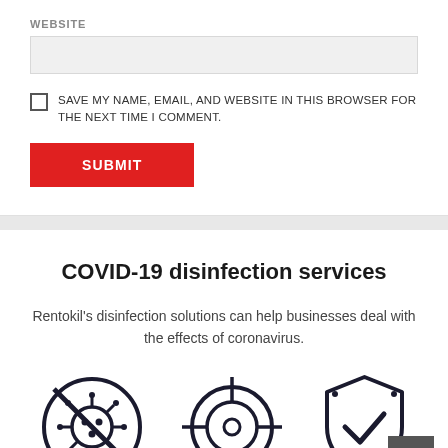WEBSITE
SAVE MY NAME, EMAIL, AND WEBSITE IN THIS BROWSER FOR THE NEXT TIME I COMMENT.
SUBMIT
COVID-19 disinfection services
Rentokil's disinfection solutions can help businesses deal with the effects of coronavirus.
[Figure (illustration): Three icons: a virus with a no symbol, a crosshair/target, and a shield with a checkmark]